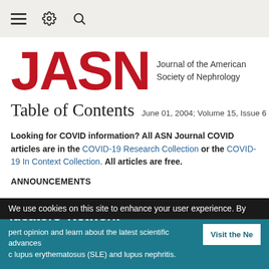Navigation bar with menu, settings, and search icons
JASN — Journal of the American Society of Nephrology
Table of Contents   June 01, 2004; Volume 15, Issue 6
Looking for COVID information? All ASN Journal COVID articles are in the COVID-19 Research Collection or the COVID-19 In Context Collection. All articles are free.
ANNOUNCEMENTS
We use cookies on this site to enhance your user experience. By
ducators' Network — expert opinion and learn about the latest scientific advances lupus erythematosus (SLE) and lupus nephritis.